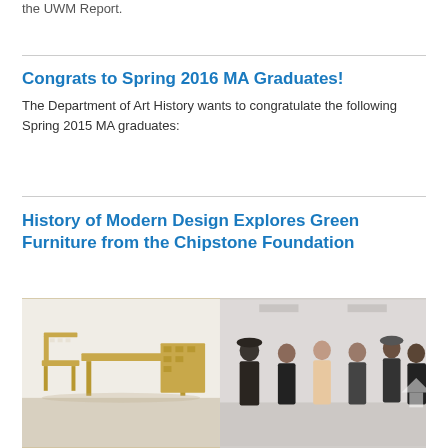the UWM Report.
Congrats to Spring 2016 MA Graduates!
The Department of Art History wants to congratulate the following Spring 2015 MA graduates:
History of Modern Design Explores Green Furniture from the Chipstone Foundation
[Figure (photo): Two photos side by side: left shows wooden flat-pack furniture (chairs and table) in a gallery space; right shows a group of people standing and talking in an exhibition space.]